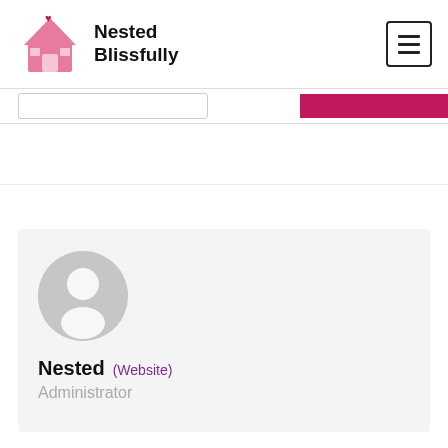[Figure (logo): Nested Blissfully logo: pink house icon with heart on roof, beside bold text 'Nested Blissfully']
[Figure (other): Hamburger menu button — three horizontal lines in a square border]
[Figure (other): Search input box (empty) and pink search/submit button]
[Figure (other): Generic user avatar — grey circle with white silhouette person icon]
Nested (Website)
Administrator